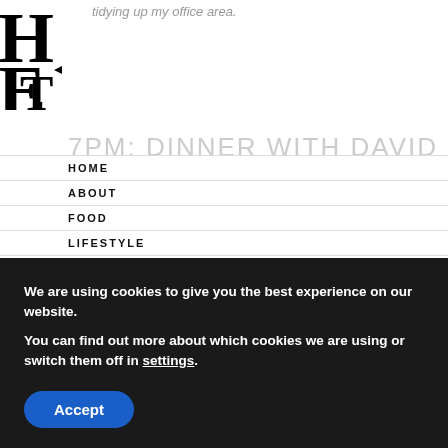[Figure (logo): Partial serif logo with large block letters H, E, T visible, with a small triangle/arrow accent]
tidying up my office area.
7PM: DINNER WITH DAVID
HOME
ABOUT
FOOD
LIFESTYLE
OUR RANCH
STYLE
TRAVEL
SHOP
HOLIDAYS
We are using cookies to give you the best experience on our website.
You can find out more about which cookies we are using or switch them off in settings.
Accept